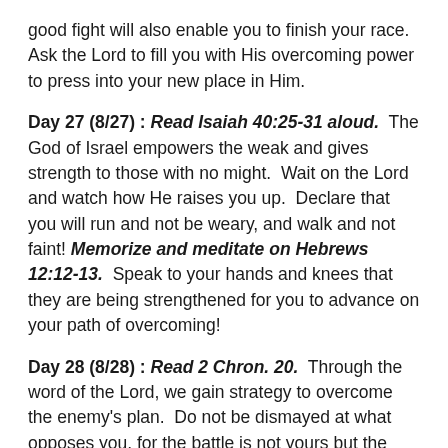good fight will also enable you to finish your race.  Ask the Lord to fill you with His overcoming power to press into your new place in Him.
Day 27 (8/27) : Read Isaiah 40:25-31 aloud.  The God of Israel empowers the weak and gives strength to those with no might.  Wait on the Lord and watch how He raises you up.  Declare that you will run and not be weary, and walk and not faint! Memorize and meditate on Hebrews 12:12-13.  Speak to your hands and knees that they are being strengthened for you to advance on your path of overcoming!
Day 28 (8/28) : Read 2 Chron. 20.  Through the word of the Lord, we gain strategy to overcome the enemy's plan.  Do not be dismayed at what opposes you, for the battle is not yours but the Lord's.  Arise with a song of praise and declare His mercy endures forever! He will send you forth to overcome every blockade.